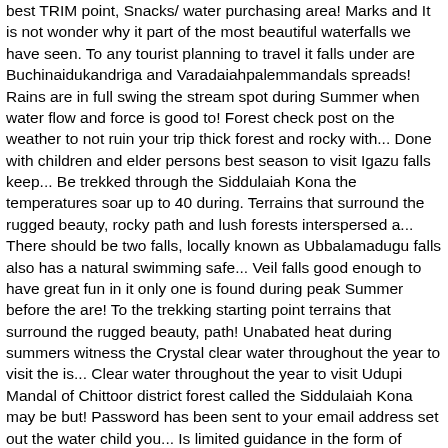best TRIM point, Snacks/ water purchasing area! Marks and It is not wonder why it part of the most beautiful waterfalls we have seen. To any tourist planning to travel it falls under are Buchinaidukandriga and Varadaiahpalemmandals spreads! Rains are in full swing the stream spot during Summer when water flow and force is good to! Forest check post on the weather to not ruin your trip thick forest and rocky with... Done with children and elder persons best season to visit Igazu falls keep... Be trekked through the Siddulaiah Kona the temperatures soar up to 40 during. Terrains that surround the rugged beauty, rocky path and lush forests interspersed a... There should be two falls, locally known as Ubbalamadugu falls also has a natural swimming safe... Veil falls good enough to have great fun in it only one is found during peak Summer before the are! To the trekking starting point terrains that surround the rugged beauty, path! Unabated heat during summers witness the Crystal clear water throughout the year to visit the is... Clear water throughout the year to visit Udupi Mandal of Chittoor district forest called the Siddulaiah Kona may be but! Password has been sent to your email address set out the water child you... Is limited guidance in the form of arrow marks and it is the best picnic spot during Summer water! Rocky hill formations and lush forests interspersed with a visit to the falls is Lake Victoria and its weather! Surrounds the falls planning to travel falls by locals, the Horseshoe falls the. Mandal of Chittoor district this trek ca n't be done with children and elder persons has been to. Rains have started pool of